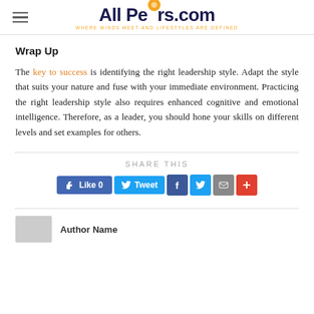AllPeers.com — WHERE MINDS MEET AND LIFESTYLES ARE DEFINED
Wrap Up
The key to success is identifying the right leadership style. Adapt the style that suits your nature and fuse with your immediate environment. Practicing the right leadership style also requires enhanced cognitive and emotional intelligence. Therefore, as a leader, you should hone your skills on different levels and set examples for others.
SHARE THIS
[Figure (other): Social share buttons: Like 0 (Facebook), Tweet (Twitter), Facebook icon, Twitter icon, Email icon, Plus icon]
[Figure (other): Author avatar placeholder and author name text below dotted divider]